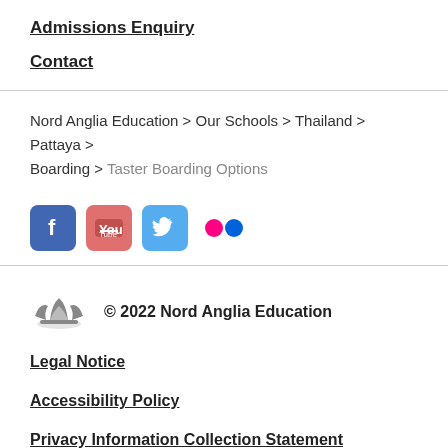Admissions Enquiry
Contact
Nord Anglia Education > Our Schools > Thailand > Pattaya > Boarding > Taster Boarding Options
[Figure (other): Social media icons: Facebook, YouTube, Twitter, Flickr]
[Figure (logo): Nord Anglia Education crown logo]
© 2022 Nord Anglia Education
Legal Notice
Accessibility Policy
Privacy Information Collection Statement